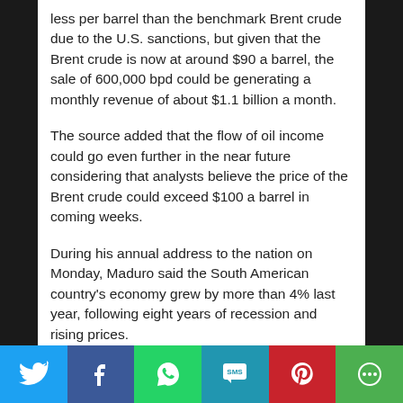less per barrel than the benchmark Brent crude due to the U.S. sanctions, but given that the Brent crude is now at around $90 a barrel, the sale of 600,000 bpd could be generating a monthly revenue of about $1.1 billion a month.
The source added that the flow of oil income could go even further in the near future considering that analysts believe the price of the Brent crude could exceed $100 a barrel in coming weeks.
During his annual address to the nation on Monday, Maduro said the South American country's economy grew by more than 4% last year, following eight years of recession and rising prices.
[Figure (infographic): Social sharing bar with Twitter, Facebook, WhatsApp, SMS, Pinterest, and More buttons]